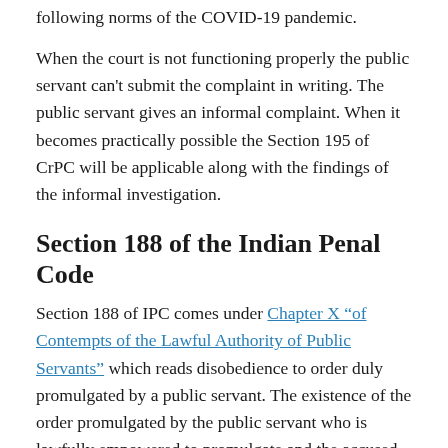following norms of the COVID-19 pandemic.
When the court is not functioning properly the public servant can't submit the complaint in writing. The public servant gives an informal complaint. When it becomes practically possible the Section 195 of CrPC will be applicable along with the findings of the informal investigation.
Section 188 of the Indian Penal Code
Section 188 of IPC comes under Chapter X “of Contempts of the Lawful Authority of Public Servants” which reads disobedience to order duly promulgated by a public servant. The existence of the order promulgated by the public servant who is lawfully empowered to promulgate and the accused know about the same and disobeys the order which has caused obstruction, annoyance, or injury to any person lawfully employed or danger to human life, health, and safety. Whoever knows that order